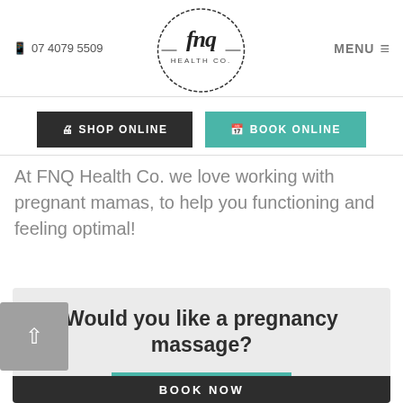📱 07 4079 5509  |  FNQ Health Co. Logo  |  MENU ☰
[Figure (logo): FNQ Health Co. circular script logo with handwritten 'fnq' and 'HEALTH CO.' text inside a hand-drawn circle]
SHOP ONLINE  |  BOOK ONLINE
At FNQ Health Co. we love working with pregnant mamas, to help you functioning and feeling optimal!
Would you like a pregnancy massage?
CONTACT US
BOOK NOW